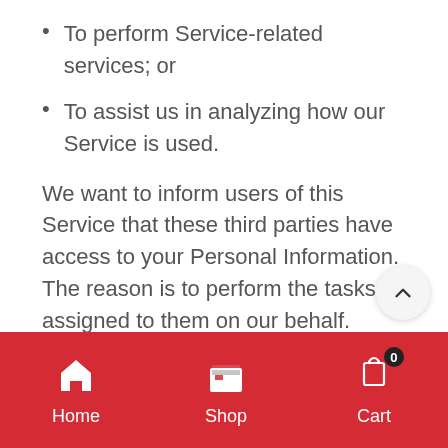To perform Service-related services; or
To assist us in analyzing how our Service is used.
We want to inform users of this Service that these third parties have access to your Personal Information. The reason is to perform the tasks assigned to them on our behalf. However, they are obligated not to disclose or use the information for any other purpose.
Security
We value your trust in providing us your Personal Information, thus we are striving to use
Home  Shop  Cart